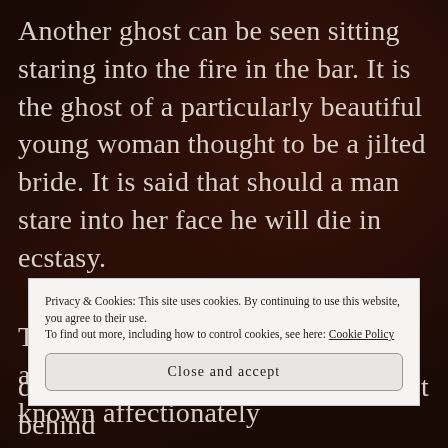Another ghost can be seen sitting staring into the fire in the bar. It is the ghost of a particularly beautiful young woman thought to be a jilted bride. It is said that should a man stare into her face he will die in ecstasy.
There are several other ghosts who appear regularly. A small boy, known affectionately
Privacy & Cookies: This site uses cookies. By continuing to use this website, you agree to their use. To find out more, including how to control cookies, see here: Cookie Policy
Close and accept
disappearance of various items kept behind